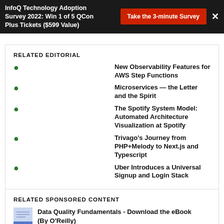InfoQ Technology Adoption Survey 2022: Win 1 of 5 QCon Plus Tickets ($599 Value)
RELATED EDITORIAL
New Observability Features for AWS Step Functions
Microservices — the Letter and the Spirit
The Spotify System Model: Automated Architecture Visualization at Spotify
Trivago's Journey from PHP+Melody to Next.js and Typescript
Uber Introduces a Universal Signup and Login Stack
RELATED SPONSORED CONTENT
Data Quality Fundamentals - Download the eBook (By O'Reilly)